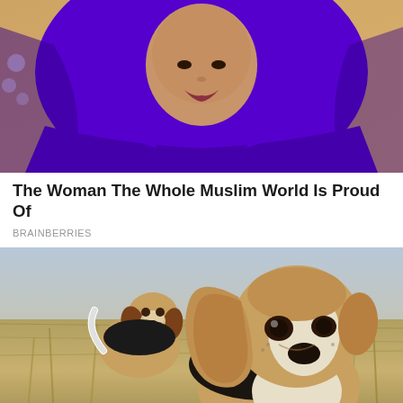[Figure (photo): Woman wearing a purple hijab with green trim, photographed outdoors with soft background]
The Woman The Whole Muslim World Is Proud Of
BRAINBERRIES
[Figure (photo): Two beagle dogs running through a field of dry golden grass, one close up facing camera with floppy ears]
9 Of The Best Family Friendly Dog Breeds